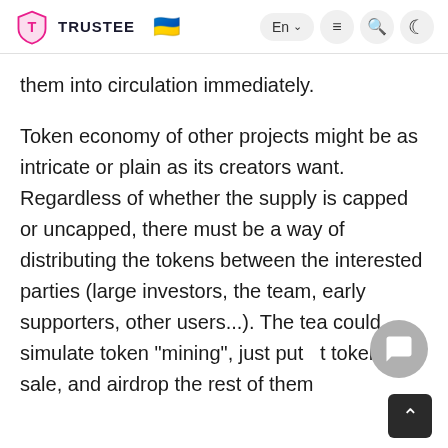TRUSTEE  🇺🇦  En  ≡  🔍  ☾
them into circulation immediately.
Token economy of other projects might be as intricate or plain as its creators want. Regardless of whether the supply is capped or uncapped, there must be a way of distributing the tokens between the interested parties (large investors, the team, early supporters, other users...). The tea could simulate token "mining", just put  st tokens on sale, and airdrop the rest of them